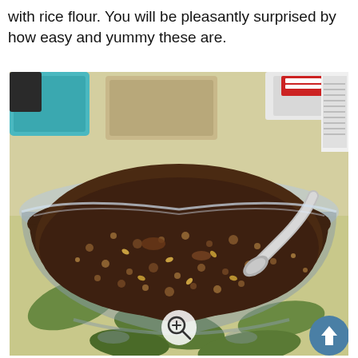with rice flour. You will be pleasantly surprised by how easy and yummy these are.
[Figure (photo): A large glass mixing bowl filled with a dark brown chunky mixture (chocolate and seeds/nuts), with a metal spoon resting in it. Kitchen items visible in background. A zoom icon and back-to-top button overlay the image.]